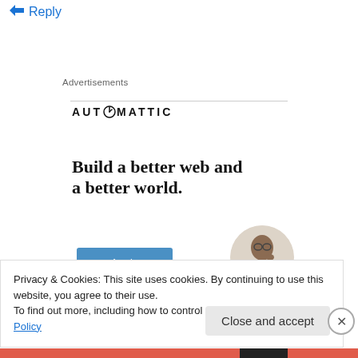↵ Reply
Advertisements
[Figure (logo): Automattic logo with compass icon in place of the letter O]
Build a better web and a better world.
Apply
[Figure (photo): Circular portrait photo of a man with glasses touching his chin thoughtfully]
Privacy & Cookies: This site uses cookies. By continuing to use this website, you agree to their use.
To find out more, including how to control cookies, see here: Cookie Policy
Close and accept